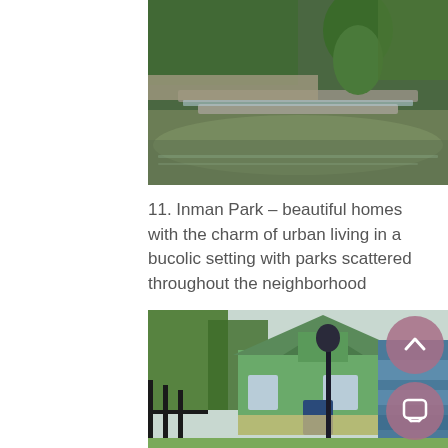[Figure (photo): A garden scene featuring a large topiary sculpture of a reclining woman figure covered in moss/plants, with a tiered waterfall fountain and pond in the foreground, surrounded by lush greenery]
11. Inman Park – beautiful homes with the charm of urban living in a bucolic setting with parks scattered throughout the neighborhood
[Figure (photo): A Victorian-style house with ornate architectural details, green and blue painted exterior, decorative gingerbread trim, front porch, and surrounded by large trees. Navigation buttons (up arrow and chat) overlaid in the bottom right corner.]